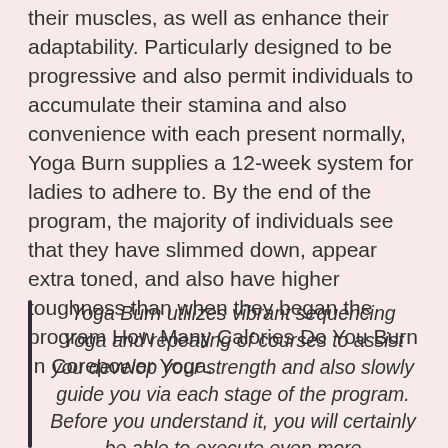their muscles, as well as enhance their adaptability. Particularly designed to be progressive and also permit individuals to accumulate their stamina and also convenience with each present normally, Yoga Burn supplies a 12-week system for ladies to adhere to. By the end of the program, the majority of individuals see that they have slimmed down, appear extra toned, and also have higher toughness than when they began the program How Many Calories Do You Burn In Corepower Yoga.
Yoga Burn utilizes vibrant sequencing Yoga and repeating of courses to assist you develop your strength and also slowly guide you via each stage of the program. Before you understand it, you will certainly be able to execute even more